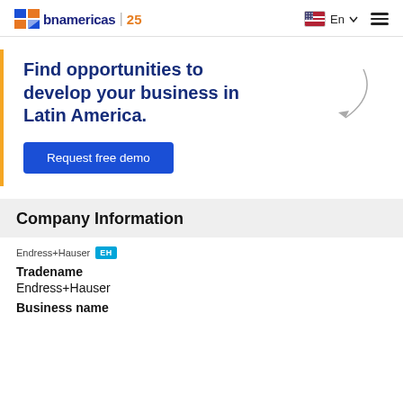bnamericas | 25  En  ☰
Find opportunities to develop your business in Latin America.
Request free demo
Company Information
[Figure (logo): Endress+Hauser logo with EH icon]
Tradename
Endress+Hauser
Business name